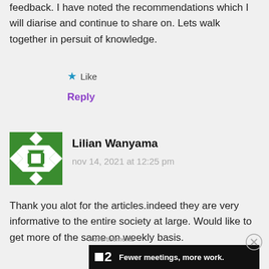feedback. I have noted the recommendations which I will diarise and continue to share on. Lets walk together in persuit of knowledge.
Like
Reply
[Figure (illustration): Green and white geometric avatar icon for Lilian Wanyama]
Lilian Wanyama
nov 14, 2021 at 12:25 pm
Thank you alot for the articles.indeed they are very informative to the entire society at large. Would like to get more of the same on weekly basis.
Advertisements
[Figure (other): Advertisement banner: Dot2 logo with text 'Fewer meetings, more work.']